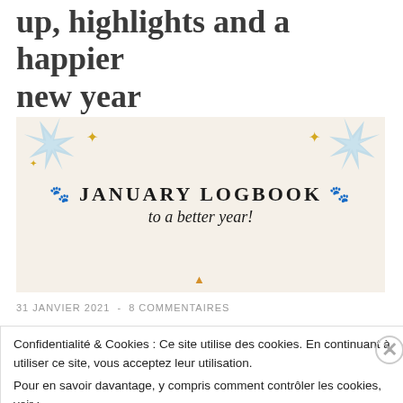up, highlights and a happier new year
[Figure (illustration): January Logbook banner image with cream background, decorative blue star/sparkle elements in corners, gold star accents, and centered text reading 'JANUARY LOGBOOK to a better year!' with paw print icons]
31 JANVIER 2021  -  8 COMMENTAIRES
Confidentialité & Cookies : Ce site utilise des cookies. En continuant à utiliser ce site, vous acceptez leur utilisation.
Pour en savoir davantage, y compris comment contrôler les cookies, voir :
Politique relative aux cookies
Fermer et accepter